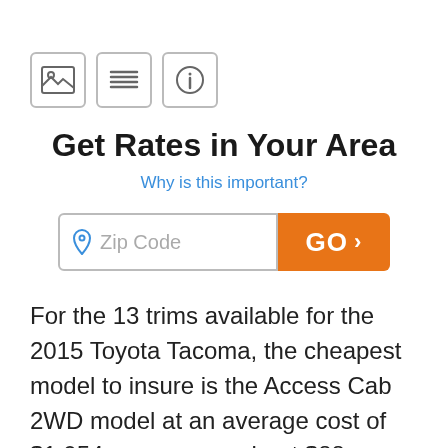[Figure (other): Three icon buttons in a row: image/photo icon, list/menu icon, search/info icon, each in a rounded square border]
Get Rates in Your Area
Why is this important?
[Figure (other): Zip code input field with location pin icon and placeholder text 'Zip Code', followed by an orange GO button with chevron]
For the 13 trims available for the 2015 Toyota Tacoma, the cheapest model to insure is the Access Cab 2WD model at an average cost of $1,054 per year, or about $88 per month